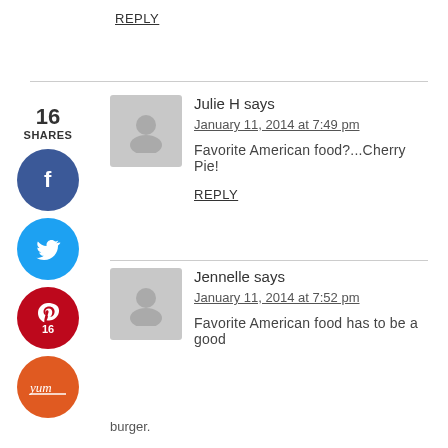REPLY
Julie H says
January 11, 2014 at 7:49 pm
Favorite American food?...Cherry Pie!
REPLY
Jennelle says
January 11, 2014 at 7:52 pm
Favorite American food has to be a good burger.